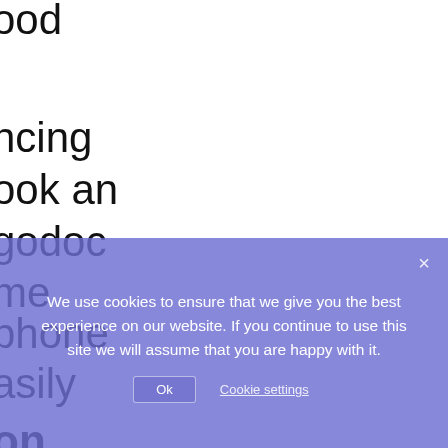ood
ncing
ook an
godoc
me
phone
asily
on
.
We use cookies to ensure that we give you the best experience on our website. If you continue to use this site we will assume that you are happy with it.